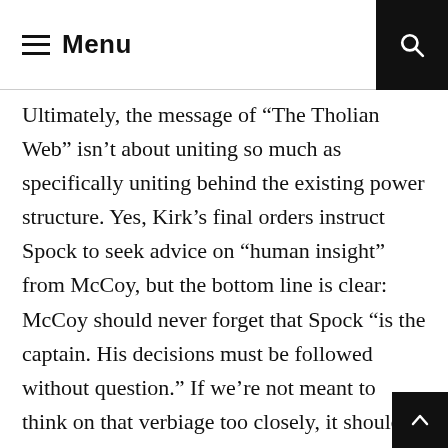Menu
Ultimately, the message of “The Tholian Web” isn’t about uniting so much as specifically uniting behind the existing power structure. Yes, Kirk’s final orders instruct Spock to seek advice on “human insight” from McCoy, but the bottom line is clear: McCoy should never forget that Spock “is the captain. His decisions must be followed without question.” If we’re not meant to think on that verbiage too closely, it should have been chosen more carefully. We’ve seen that even Kirk’s orders are frequently questioned; to think that Spock’s wouldn’t be is another significant deviation from the established TOS universe. More important, imagine if Spock were not the thoughtful, loyal leader we know him to be. Are we really expected to unite behind a white supremac